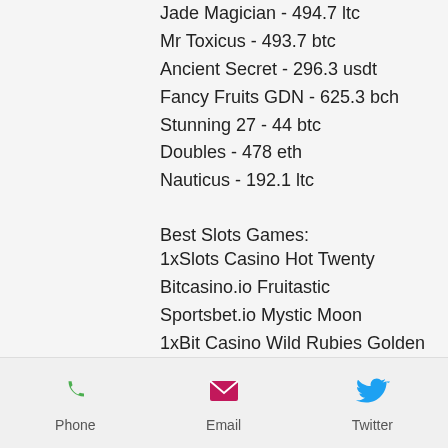Jade Magician - 494.7 ltc
Mr Toxicus - 493.7 btc
Ancient Secret - 296.3 usdt
Fancy Fruits GDN - 625.3 bch
Stunning 27 - 44 btc
Doubles - 478 eth
Nauticus - 192.1 ltc
Best Slots Games:
1xSlots Casino Hot Twenty
Bitcasino.io Fruitastic
Sportsbet.io Mystic Moon
1xBit Casino Wild Rubies Golden Nights
mBit Casino Taco Brothers Saving Christmas
Syndicate Casino Empire Fortune
Bitcoin Penguin Casino Sherwood Forest Fortunes
CryptoGames Fire Opals
Phone  Email  Twitter